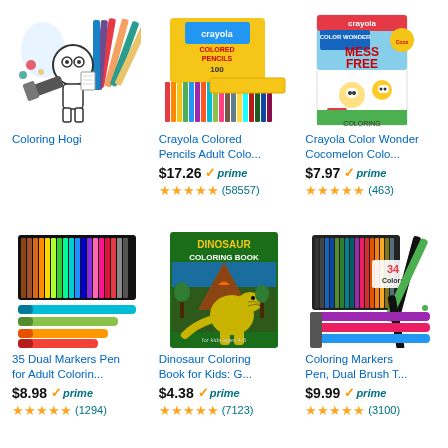[Figure (screenshot): Amazon product grid showing 6 coloring products in 2 rows of 3]
Coloring Hogi
Crayola Colored Pencils Adult Colo...
$17.26  prime  (58557)
Crayola Color Wonder Cocomelon Colo...
$7.97  prime  (463)
35 Dual Markers Pen for Adult Colorin...
$8.98  prime  (1294)
Dinosaur Coloring Book for Kids: G...
$4.38  prime  (7123)
Coloring Markers Pen, Dual Brush T...
$9.99  prime  (3100)